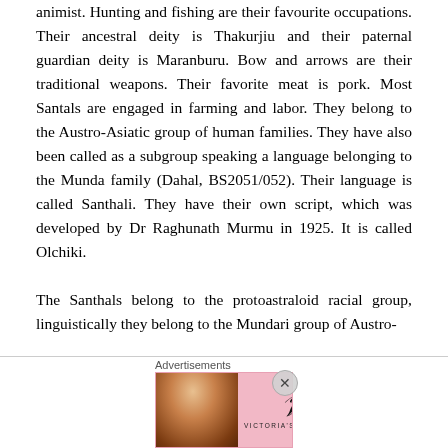animist. Hunting and fishing are their favourite occupations. Their ancestral deity is Thakurjiu and their paternal guardian deity is Maranburu. Bow and arrows are their traditional weapons. Their favorite meat is pork. Most Santals are engaged in farming and labor. They belong to the Austro-Asiatic group of human families. They have also been called as a subgroup speaking a language belonging to the Munda family (Dahal, BS2051/052). Their language is called Santhali. They have their own script, which was developed by Dr Raghunath Murmu in 1925. It is called Olchiki.

The Santhals belong to the protoastraloid racial group, linguistically they belong to the Mundari group of Austro-
[Figure (other): Victoria's Secret advertisement banner with model photo, VS logo, 'SHOP THE COLLECTION' text, and 'SHOP NOW' button on pink background]